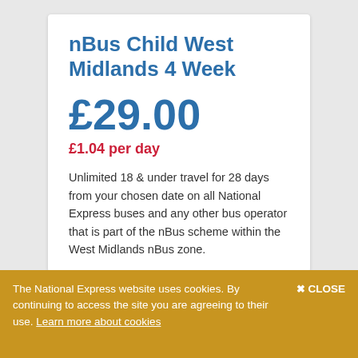nBus Child West Midlands 4 Week
£29.00
£1.04 per day
Unlimited 18 & under travel for 28 days from your chosen date on all National Express buses and any other bus operator that is part of the nBus scheme within the West Midlands nBus zone.
More ▾
BUY
The National Express website uses cookies. By continuing to access the site you are agreeing to their use. Learn more about cookies
✖ CLOSE